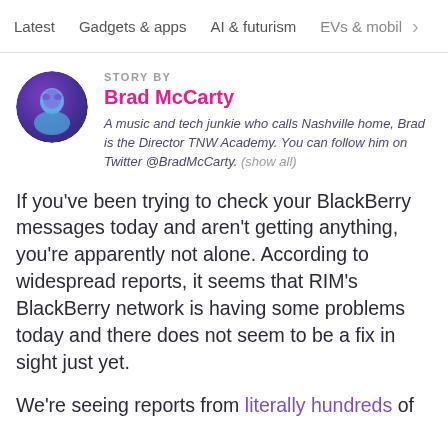Latest   Gadgets & apps   AI & futurism   EVs & mobil >
STORY BY
Brad McCarty
A music and tech junkie who calls Nashville home, Brad is the Director TNW Academy. You can follow him on Twitter @BradMcCarty. (show all)
If you've been trying to check your BlackBerry messages today and aren't getting anything, you're apparently not alone. According to widespread reports, it seems that RIM's BlackBerry network is having some problems today and there does not seem to be a fix in sight just yet.
We're seeing reports from literally hundreds of